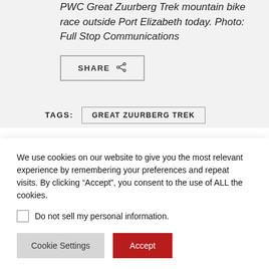PWC Great Zuurberg Trek mountain bike race outside Port Elizabeth today. Photo: Full Stop Communications
SHARE
TAGS: GREAT ZUURBERG TREK
We use cookies on our website to give you the most relevant experience by remembering your preferences and repeat visits. By clicking “Accept”, you consent to the use of ALL the cookies.
Do not sell my personal information.
Cookie Settings
Accept